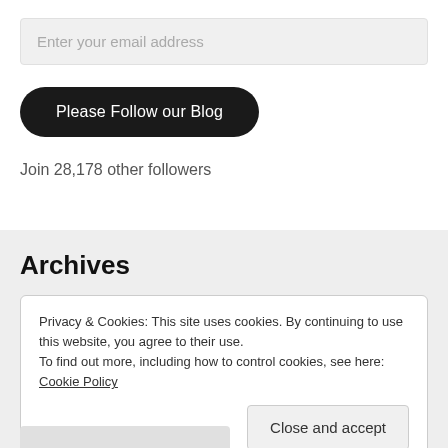Enter your email address
Please Follow our Blog
Join 28,178 other followers
Archives
Privacy & Cookies: This site uses cookies. By continuing to use this website, you agree to their use.
To find out more, including how to control cookies, see here: Cookie Policy
Close and accept